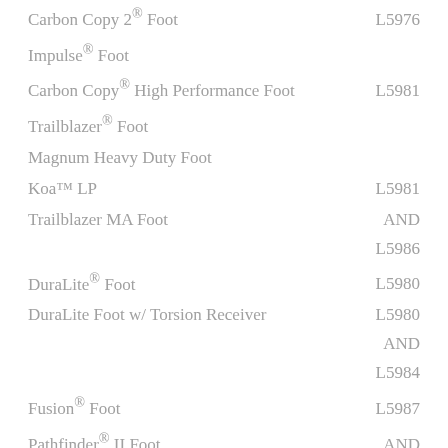Carbon Copy 2® Foot   L5976
Impulse® Foot
Carbon Copy® High Performance Foot   L5981
Trailblazer® Foot
Magnum Heavy Duty Foot
Koa™ LP   L5981
Trailblazer MA Foot   AND
L5986
DuraLite® Foot   L5980
DuraLite Foot w/ Torsion Receiver   L5980
AND
L5984
Fusion® Foot   L5987
Pathfinder® II Foot   AND
Low-Profile Pathfinder® II Foot   L5986